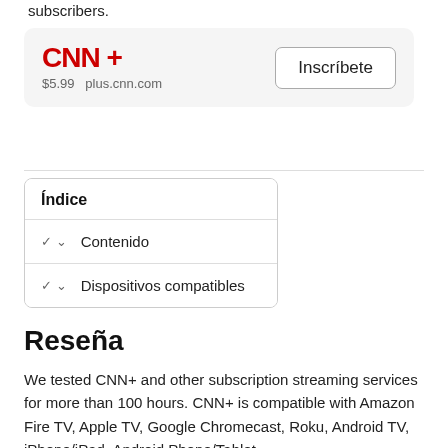subscribers.
[Figure (other): CNN+ subscription card with logo, price $5.99, plus.cnn.com, and Inscríbete button]
Índice
Contenido
Dispositivos compatibles
Reseña
We tested CNN+ and other subscription streaming services for more than 100 hours. CNN+ is compatible with Amazon Fire TV, Apple TV, Google Chromecast, Roku, Android TV, iPhone/iPad, Android Phone/Tablet